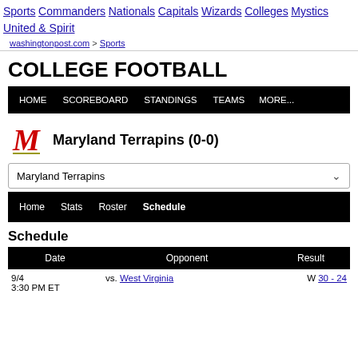Sports  Commanders  Nationals  Capitals  Wizards  Colleges  Mystics  United & Spirit
washingtonpost.com > Sports
COLLEGE FOOTBALL
[Figure (screenshot): Black navigation bar with links: HOME, SCOREBOARD, STANDINGS, TEAMS, MORE...]
Maryland Terrapins (0-0)
Maryland Terrapins (dropdown)
[Figure (screenshot): Black sub-navigation bar with links: Home, Stats, Roster, Schedule (bold)]
Schedule
| Date | Opponent | Result |
| --- | --- | --- |
| 9/4
3:30 PM ET | vs. West Virginia | W 30 - 24 |